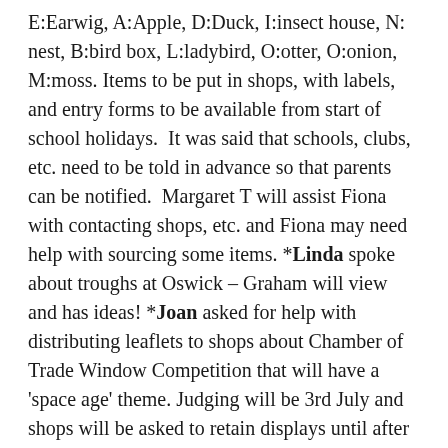E:Earwig, A:Apple, D:Duck, I:insect house, N: nest, B:bird box, L:ladybird, O:otter, O:onion, M:moss. Items to be put in shops, with labels, and entry forms to be available from start of school holidays.  It was said that schools, clubs, etc. need to be told in advance so that parents can be notified.  Margaret T will assist Fiona with contacting shops, etc. and Fiona may need help with sourcing some items. *Linda spoke about troughs at Oswick – Graham will view and has ideas! *Joan asked for help with distributing leaflets to shops about Chamber of Trade Window Competition that will have a 'space age' theme. Judging will be 3rd July and shops will be asked to retain displays until after Anglia in Bloom judging.  *Wood at rear of Post Office railings needs painting – Annie to paint. *The Oak has asked if he can have some troughs on his top sill, but it was said that we have none suitable in stock and queried who will water.  *Shop at top of High Street would like a trough outside their premises. We have no Licence to Plant for this. *Mick Fleet owner